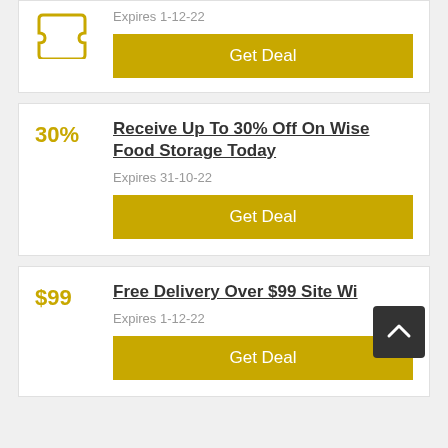[Figure (other): Partial coupon card top — icon and Get Deal button with Expires 1-12-22]
Expires 1-12-22
Get Deal
Receive Up To 30% Off On Wise Food Storage Today
Expires 31-10-22
Get Deal
Free Delivery Over $99 Site Wide
Expires 1-12-22
Get Deal